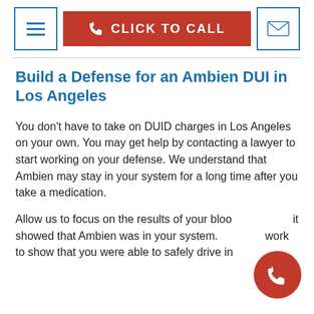CLICK TO CALL
Build a Defense for an Ambien DUI in Los Angeles
You don’t have to take on DUID charges in Los Angeles on your own. You may get help by contacting a lawyer to start working on your defense. We understand that Ambien may stay in your system for a long time after you take a medication.
Allow us to focus on the results of your blood test and if it showed that Ambien was in your system. We may work to show that you were able to safely drive in